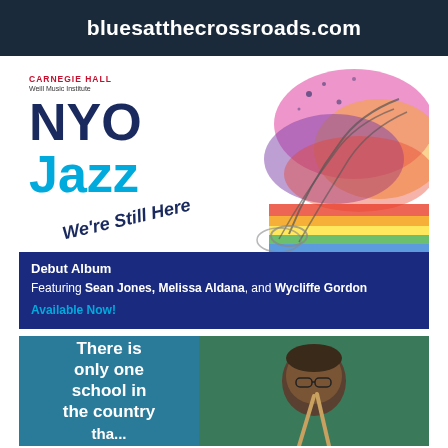bluesatthecrossroads.com
[Figure (illustration): Carnegie Hall Weill Music Institute NYO Jazz 'We're Still Here' album ad with colorful trumpet illustration]
Debut Album
Featuring Sean Jones, Melissa Aldana, and Wycliffe Gordon
Available Now!
[Figure (photo): Person with drumsticks against a green chalkboard background with text 'There is only one school in the country that...']